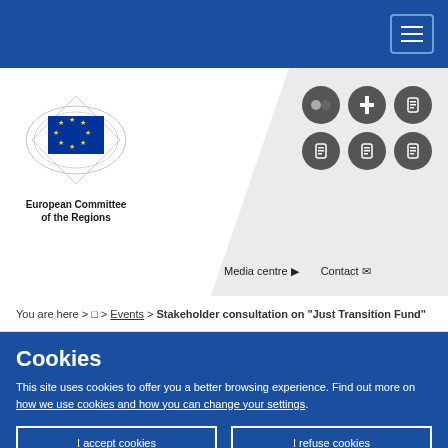European Committee of the Regions website header with navigation hamburger menu
[Figure (logo): European Committee of the Regions logo with EU flag emblem and organization name]
Media centre   Contact
You are here > □ > Events > Stakeholder consultation on "Just Transition Fund"
Cookies
This site uses cookies to offer you a better browsing experience. Find out more on how we use cookies and how you can change your settings.
I accept cookies   I refuse cookies